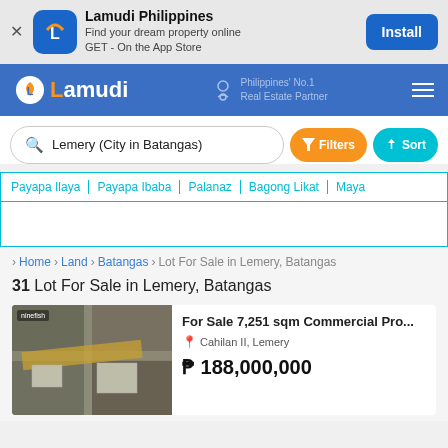[Figure (screenshot): App install banner for Lamudi Philippines with icon, text 'Find your dream property online GET - On the App Store', and Install button]
[Figure (logo): Lamudi Philippines navigation bar with logo, 'Philippines No.1 Real Estate Partner' tagline, and hamburger menu]
Lemery (City in Batangas)
Payapa Ilaya | Payapa Ibaba | Palanaz | Bagong Likat | Maya
> Home > Land > Batangas > Lot For Sale in Lemery, Batangas
31 Lot For Sale in Lemery, Batangas
[Figure (photo): Aerial satellite map view of commercial property in Cahilan II, Lemery with road overlay markings]
For Sale 7,251 sqm Commercial Pro...
Cahilan II, Lemery
₱ 188,000,000